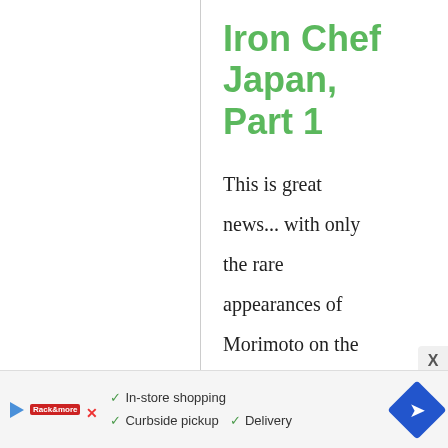Iron Chef Japan, Part 1
This is great news... with only the rare appearances of Morimoto on the American version, I long for the days when